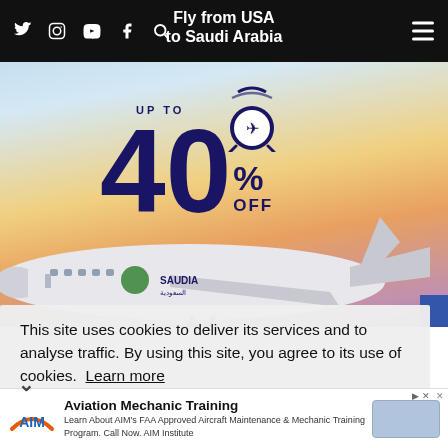Fly from USA to Saudi Arabia
[Figure (photo): Saudi Arabian Airlines advertisement showing an airplane with 'UP TO 40% OFF' promotion text and alarm clock graphic against a gradient sky background]
This site uses cookies to deliver its services and to analyse traffic. By using this site, you agree to its use of cookies. Learn more
[Figure (infographic): Aviation Mechanic Training advertisement for AIM Institute with logo, text about FAA Approved Aircraft Maintenance & Mechanic Training Program and a placeholder button]